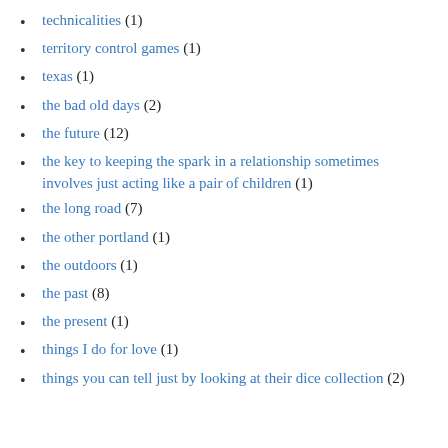technicalities (1)
territory control games (1)
texas (1)
the bad old days (2)
the future (12)
the key to keeping the spark in a relationship sometimes involves just acting like a pair of children (1)
the long road (7)
the other portland (1)
the outdoors (1)
the past (8)
the present (1)
things I do for love (1)
things you can tell just by looking at their dice collection (2)